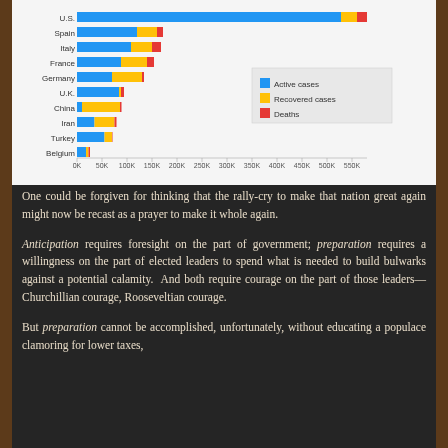[Figure (stacked-bar-chart): COVID-19 Cases by Country]
One could be forgiven for thinking that the rally-cry to make that nation great again might now be recast as a prayer to make it whole again.
Anticipation requires foresight on the part of government; preparation requires a willingness on the part of elected leaders to spend what is needed to build bulwarks against a potential calamity. And both require courage on the part of those leaders—Churchillian courage, Rooseveltian courage.
But preparation cannot be accomplished, unfortunately, without educating a populace clamoring for lower taxes,